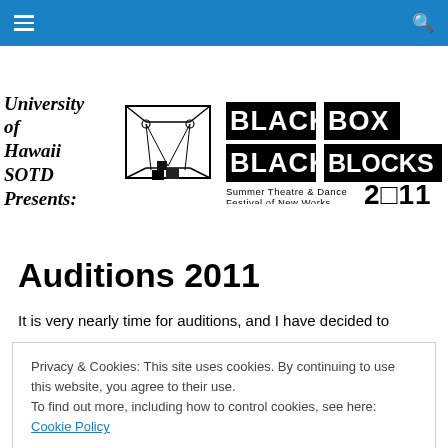Navigation bar with hamburger menu and search icon
[Figure (logo): University of Hawaii SOTD Presents: Black Box Black Blocks Summer Theatre & Dance Festival of New Works 2011 logo with black box stage diagram]
Auditions 2011
It is very nearly time for auditions, and I have decided to
Privacy & Cookies: This site uses cookies. By continuing to use this website, you agree to their use. To find out more, including how to control cookies, see here: Cookie Policy
Close and accept